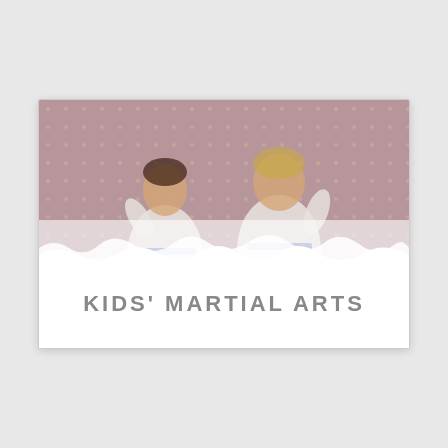[Figure (photo): Two smiling children wearing white karate gi uniforms with blue belts, posing in fighting stances against a dark red/maroon polka-dot background. The image has a faded/washed-out appearance. A decorative torn white paper/cloud effect overlays the bottom portion of the photo.]
KIDS' MARTIAL ARTS